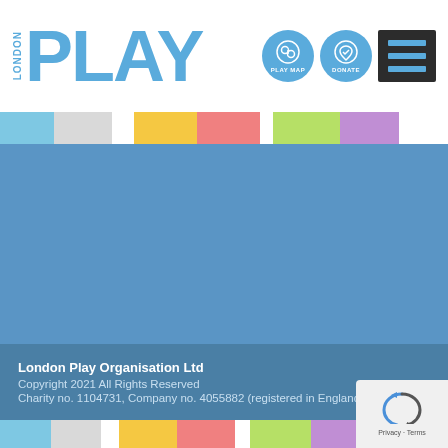[Figure (logo): London Play logo with 'LONDON' in vertical text and 'PLAY' in large bold blue letters]
[Figure (infographic): Navigation icons: Play Map circular button, Donate circular button, and hamburger menu button]
[Figure (infographic): Colorful horizontal bar with light blue, grey, yellow, salmon/red, green, and purple segments]
[Figure (infographic): Main blue background area]
London Play Organisation Ltd
Copyright 2021 All Rights Reserved
Charity no. 1104731, Company no. 4055882 (registered in England)
[Figure (infographic): Bottom colorful bar repeated with same color segments]
[Figure (infographic): reCAPTCHA widget box with Privacy and Terms links]